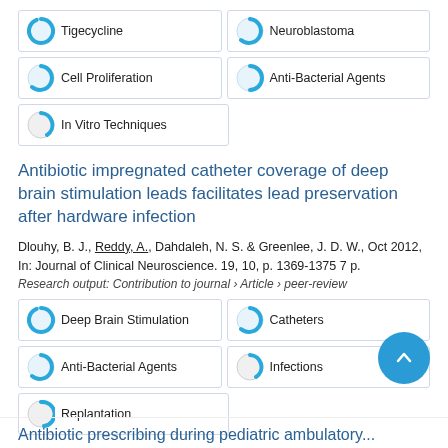Tigecycline
Neuroblastoma
Cell Proliferation
Anti-Bacterial Agents
In Vitro Techniques
Antibiotic impregnated catheter coverage of deep brain stimulation leads facilitates lead preservation after hardware infection
Dlouhy, B. J., Reddy, A., Dahdaleh, N. S. & Greenlee, J. D. W., Oct 2012, In: Journal of Clinical Neuroscience. 19, 10, p. 1369-1375 7 p.
Research output: Contribution to journal › Article › peer-review
Deep Brain Stimulation
Catheters
Anti-Bacterial Agents
Infections
Replantation
Antibiotic prescribing during pediatric ambulatory...